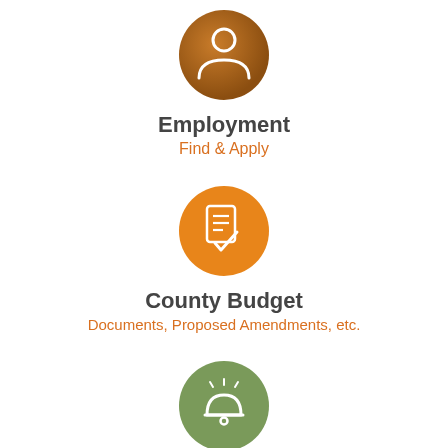[Figure (infographic): Orange-brown circular icon with a person/user silhouette symbol]
Employment
Find & Apply
[Figure (infographic): Bright orange circular icon with a document/checklist symbol]
County Budget
Documents, Proposed Amendments, etc.
[Figure (infographic): Green circular icon with an alarm/bell symbol]
Adopt a Pet